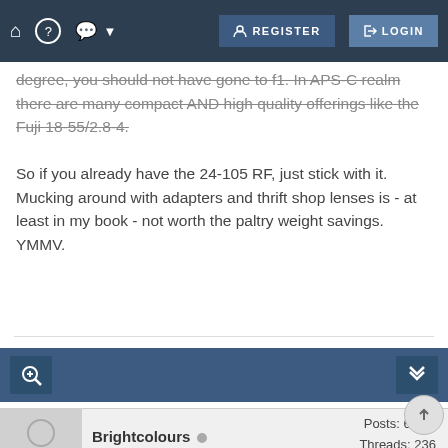Register | Login
degree, you should not have gone to f1. In APS-C realm there are many compact AND high quality offerings like the Fuji 18-55/2.8-4.
So if you already have the 24-105 RF, just stick with it. Mucking around with adapters and thrift shop lenses is - at least in my book - not worth the paltry weight savings. YMMV.
Brightcolours  Banned  Posts: 6,716 Threads: 236 Joined: Apr 2010
08-14-2019, 09:30 AM  #7